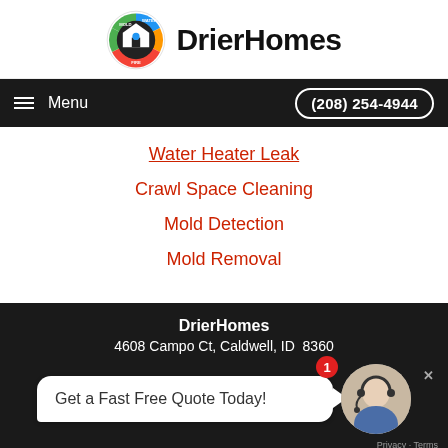[Figure (logo): DrierHomes logo with circular icon showing house with MOLD WATER FIRE labels in colored segments]
DrierHomes
Menu   (208) 254-4944
Water Heater Leak
Crawl Space Cleaning
Mold Detection
Mold Removal
DrierHomes
4608 Campo Ct, Caldwell, ID  8360
Get a Fast Free Quote Today!
(208) 202-9558